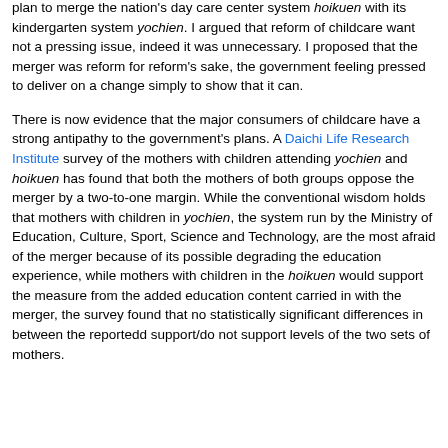plan to merge the nation's day care center system hoikuen with its kindergarten system yochien. I argued that reform of childcare want not a pressing issue, indeed it was unnecessary. I proposed that the merger was reform for reform's sake, the government feeling pressed to deliver on a change simply to show that it can.
There is now evidence that the major consumers of childcare have a strong antipathy to the government's plans. A Daichi Life Research Institute survey of the mothers with children attending yochien and hoikuen has found that both the mothers of both groups oppose the merger by a two-to-one margin. While the conventional wisdom holds that mothers with children in yochien, the system run by the Ministry of Education, Culture, Sport, Science and Technology, are the most afraid of the merger because of its possible degrading the education experience, while mothers with children in the hoikuen would support the measure from the added education content carried in with the merger, the survey found that no statistically significant differences in between the reportedd support/do not support levels of the two sets of mothers.